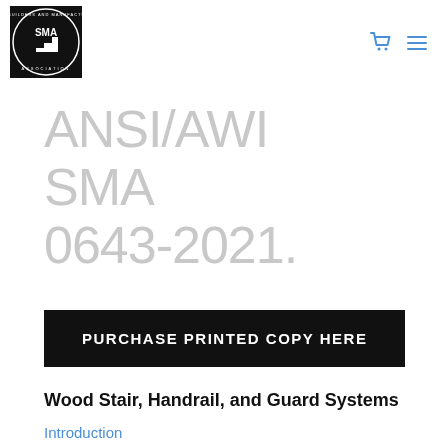[Figure (logo): SMA (Stairbuilders and Manufacturers Association) circular logo with black background, white text and stair graphic]
[Figure (other): Shopping cart icon (blue) and hamburger menu icon (blue lines) in top right navigation]
ANSI/AWI SMA 0643-2021.
PURCHASE PRINTED COPY HERE
Wood Stair, Handrail, and Guard Systems
Introduction